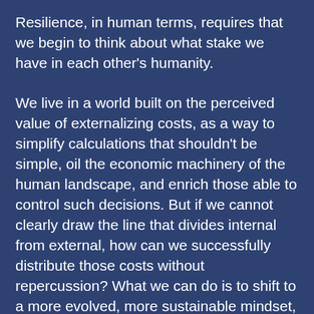Resilience, in human terms, requires that we begin to think about what stake we have in each other's humanity.
We live in a world built on the perceived value of externalizing costs, as a way to simplify calculations that shouldn't be simple, oil the economic machinery of the human landscape, and enrich those able to control such decisions. But if we cannot clearly draw the line that divides internal from external, how can we successfully distribute those costs without repercussion? What we can do is to shift to a more evolved, more sustainable mindset, so that the value stakeholders place in specific methods or outcomes is seen not as an impediment to progress by planners, developers and investors, but rather as meaningful information we all require in order to build a more just